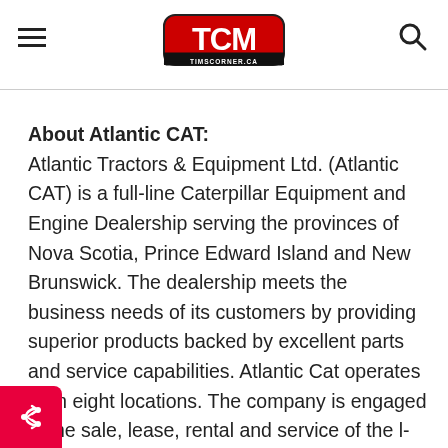TCM TIMSCORNER.CA — navigation header with hamburger menu and search icon
About Atlantic CAT:
Atlantic Tractors & Equipment Ltd. (Atlantic CAT) is a full-line Caterpillar Equipment and Engine Dealership serving the provinces of Nova Scotia, Prince Edward Island and New Brunswick. The dealership meets the business needs of its customers by providing superior products backed by excellent parts and service capabilities. Atlantic Cat operates from eight locations. The company is engaged in the sale, lease, rental and service of the l-line of Caterpillar Earthmoving and Engine oducts. These include machines for use in a